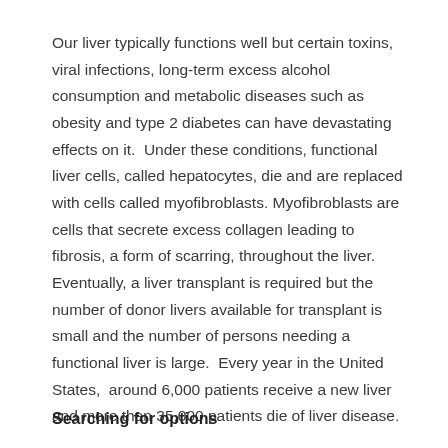Our liver typically functions well but certain toxins, viral infections, long-term excess alcohol consumption and metabolic diseases such as obesity and type 2 diabetes can have devastating effects on it.  Under these conditions, functional liver cells, called hepatocytes, die and are replaced with cells called myofibroblasts. Myofibroblasts are cells that secrete excess collagen leading to fibrosis, a form of scarring, throughout the liver.  Eventually, a liver transplant is required but the number of donor livers available for transplant is small and the number of persons needing a functional liver is large.  Every year in the United States,  around 6,000 patients receive a new liver and more than 35,000 patients die of liver disease.
Searching for options